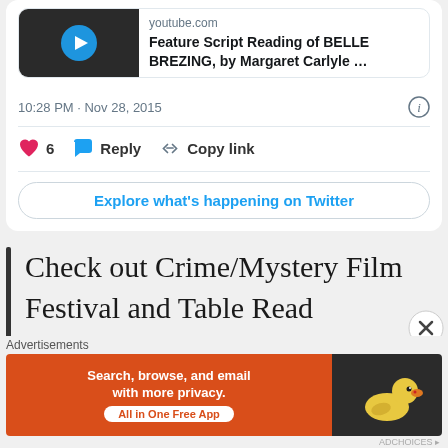[Figure (screenshot): YouTube video preview thumbnail showing a dark street scene with a blue play button icon]
youtube.com
Feature Script Reading of BELLE BREZING, by Margaret Carlyle …
10:28 PM · Nov 28, 2015
❤ 6   💬 Reply   🔗 Copy link
Explore what's happening on Twitter
Check out Crime/Mystery Film Festival and Table Read Screenplays on #FilmFreeway https://t.co/0FpfbFvRth
…(partially visible cut-off text)
Advertisements
[Figure (screenshot): DuckDuckGo advertisement banner: orange left section saying 'Search, browse, and email with more privacy. All in One Free App', dark right section with DuckDuckGo logo]